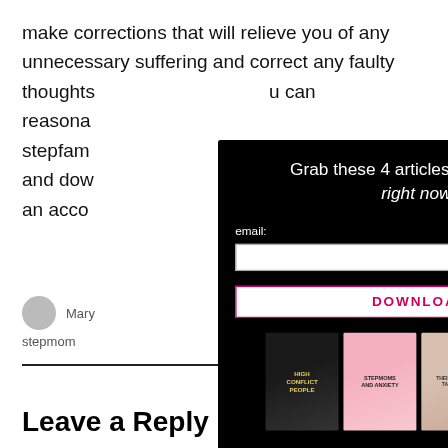make corrections that will relieve you of any unnecessary suffering and correct any faulty thoughts... you can reasona... stepfam... g in and dow... n't have an acco...
[Figure (screenshot): Modal popup on black background with title 'Grab these 4 articles for FREE — right now!', an email input field, a DOWNLOAD button, and four book cover images below.]
Mary... stepmom
Leave a Reply